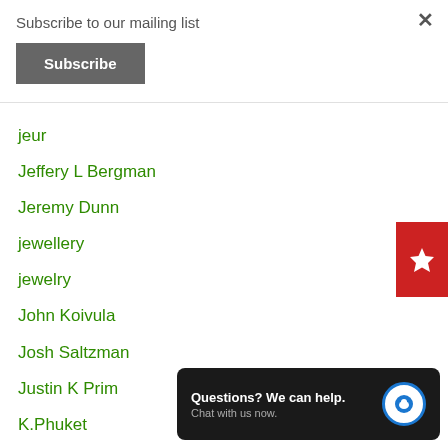Subscribe to our mailing list
Subscribe
jeur
Jeffery L Bergman
Jeremy Dunn
jewellery
jewelry
John Koivula
Josh Saltzman
Justin K Prim
K.Phuket
Kagem
Karim Guerchouche
Questions? We can help. Chat with us now.